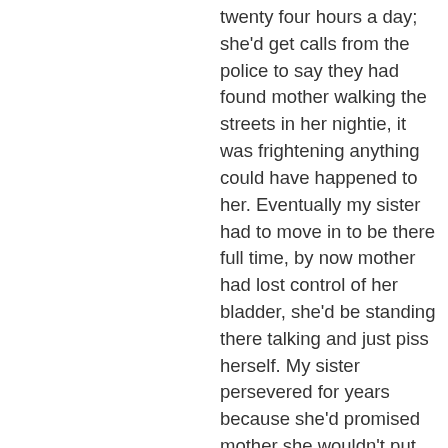twenty four hours a day; she'd get calls from the police to say they had found mother walking the streets in her nightie, it was frightening anything could have happened to her. Eventually my sister had to move in to be there full time, by now mother had lost control of her bladder, she'd be standing there talking and just piss herself. My sister persevered for years because she'd promised mother she wouldn't put her in a home. It would have driven me mad, in fact I think my sister was close to a nervous breakdown. She phoned me one night to say she'd locked herself out of the house and couldn't work out how to get back in, she was crying uncontrollably. All she had to do was go to the next door